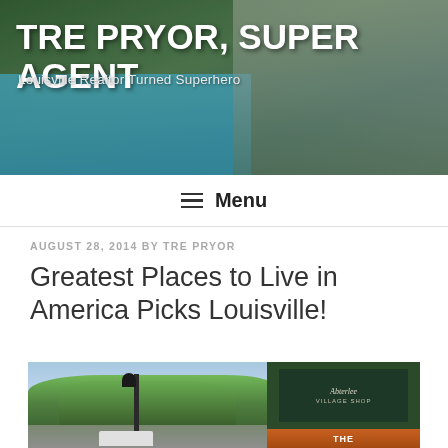[Figure (photo): Website header banner photo showing a swimming pool area with trees and a building in the background]
TRE PRYOR, SUPER AGENT
Louisville Realtor Turned Superhero
≡ Menu
AUGUST 28, 2014 BY TRE PRYOR
Greatest Places to Live in America Picks Louisville!
[Figure (photo): Street scene photo showing a tree-lined street with lamp posts and the Abterlee Village Shops sign]